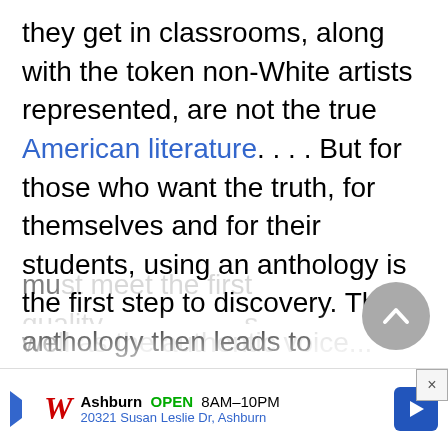they get in classrooms, along with the token non-White artists represented, are not the true American literature. . . . But for those who want the truth, for themselves and for their students, using an anthology is the first step to discovery. The anthology then leads to individual works of the writers." Regarding his inclusion criteria, Adoff remarked to Top of the News that in all of his books, "the material selected mu... s we...
[Figure (other): Gray circular scroll-to-top button with upward chevron arrow]
[Figure (other): Walgreens advertisement banner: Ashburn OPEN 8AM-10PM, 20321 Susan Leslie Dr, Ashburn, with blue navigation arrow]